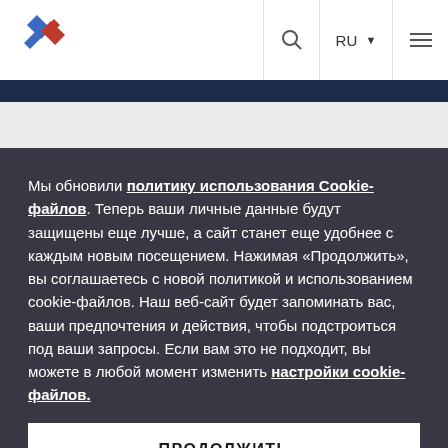[Figure (logo): Diamond-shaped logo with blue and red geometric shapes]
RU ≡ (search icon, language selector, hamburger menu)
Мы обновили политику использования Cookie-файлов. Теперь ваши личные данные будут защищены еще лучше, а сайт станет еще удобнее с каждым новым посещением. Нажимая «Продолжить», вы соглашаетесь с новой политикой и использованием cookie-файлов. Наш веб-сайт будет запоминать вас, ваши предпочтения и действия, чтобы подстроиться под ваши запросы. Если вам это не подходит, вы можете в любой момент изменить настройки cookie-файлов.
ПРОДОЛЖИТЬ